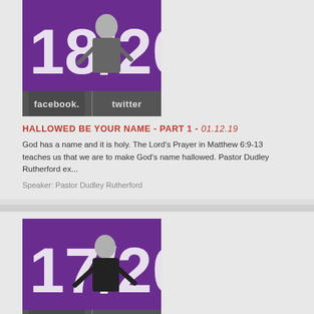[Figure (photo): Thumbnail image showing a speaker on stage with large text '18/20' on purple background]
[Figure (other): Social sharing bar with facebook and twitter buttons]
HALLOWED BE YOUR NAME - PART 1 - 01.12.19
God has a name and it is holy. The Lord's Prayer in Matthew 6:9-13 teaches us that we are to make God's name hallowed. Pastor Dudley Rutherford ex...
Speaker: Pastor Dudley Rutherford
[Figure (photo): Thumbnail image showing a speaker on stage with large text '17/20' on purple background]
[Figure (other): Social sharing bar with facebook and twitter buttons]
OUR FATHER IN HEAVEN - 01.05.19